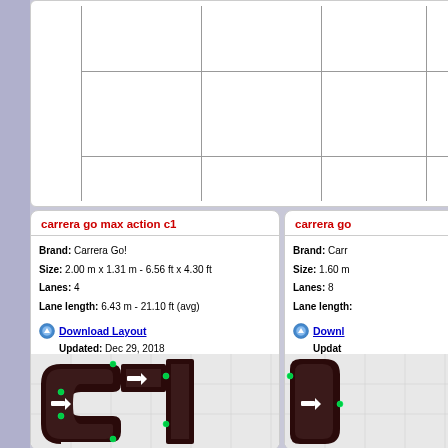[Figure (table-as-image): Partial grid/table visible at top of page, cropped]
carrera go max action c1
Brand: Carrera Go!
Size: 2.00 m x 1.31 m - 6.56 ft x 4.30 ft
Lanes: 4
Lane length: 6.43 m - 21.10 ft (avg)
Download Layout
Updated: Dec 29, 2018
[Figure (illustration): Slot car track layout diagram for carrera go max action c1, showing curved black track with green dots and white arrows on dark background with grid]
carrera go
Brand: Carr
Size: 1.60 m
Lanes: 8
Lane length:
Downl
Updat
[Figure (illustration): Partial slot car track layout diagram visible on right side, cropped]